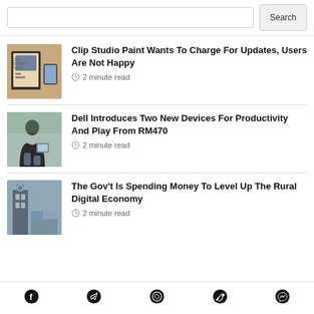Search
Clip Studio Paint Wants To Charge For Updates, Users Are Not Happy
2 minute read
Dell Introduces Two New Devices For Productivity And Play From RM470
2 minute read
The Gov't Is Spending Money To Level Up The Rural Digital Economy
2 minute read
Social share icons: Facebook, Telegram, WhatsApp, Twitter, Messenger